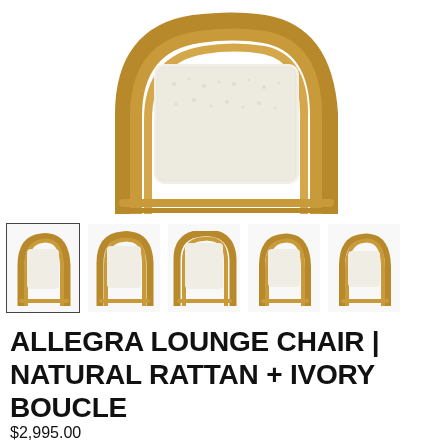[Figure (photo): Close-up top view of the Allegra Lounge Chair showing natural rattan frame with rounded arms and ivory boucle upholstered seat cushion]
[Figure (photo): Row of 5 thumbnail images of the Allegra Lounge Chair from different angles: front-left (selected/bordered), front, back/top, right side, front-right]
ALLEGRA LOUNGE CHAIR | NATURAL RATTAN + IVORY BOUCLE
$2,995.00